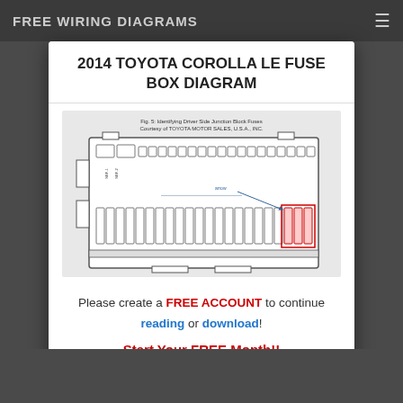FREE WIRING DIAGRAMS
2014 TOYOTA COROLLA LE FUSE BOX DIAGRAM
[Figure (engineering-diagram): Fuse box diagram for 2014 Toyota Corolla LE showing driver side junction block fuses with rows of fuse slots and highlighted fuses in red]
Please create a FREE ACCOUNT to continue reading or download! Start Your FREE Month!!
CREATE MY ACCOUNT NOW